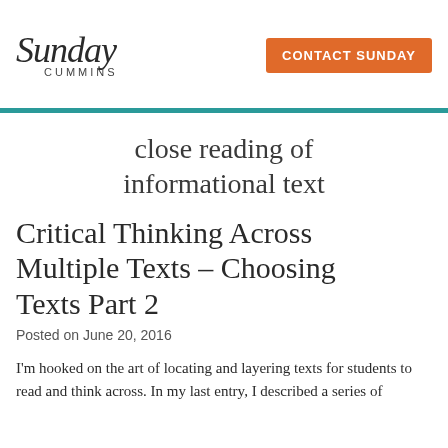[Figure (logo): Sunday Cummins logo in italic script with 'CUMMINS' in small caps below, and an orange 'CONTACT SUNDAY' button to the right]
close reading of informational text
Critical Thinking Across Multiple Texts – Choosing Texts Part 2
Posted on June 20, 2016
I'm hooked on the art of locating and layering texts for students to read and think across. In my last entry, I described a series of